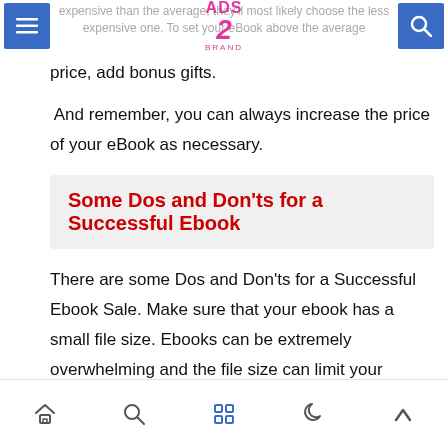ADS 2 BRAND — navigation bar with menu and search buttons
expensive than the average, they'll most likely choose the less expensive one. To set your eBook above the average price, add bonus gifts.
And remember, you can always increase the price of your eBook as necessary.
Some Dos and Don'ts for a Successful Ebook
There are some Dos and Don'ts for a Successful Ebook Sale. Make sure that your ebook has a small file size. Ebooks can be extremely overwhelming and the file size can limit your options for pricing.
It's a good idea to upload images for your ebook in high
Bottom navigation bar with home, search, grid, moon, and up arrow icons